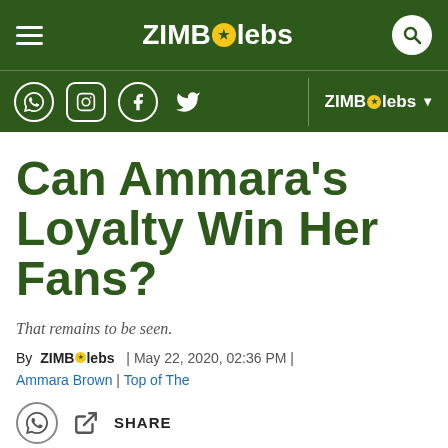ZIMBOlebs navigation bar with hamburger menu and search
Social icons (WhatsApp, Instagram, Facebook, Twitter) | ZIMBOlebs dropdown
Can Ammara's Loyalty Win Her Fans?
That remains to be seen.
By ZIMBOlebs | May 22, 2020, 02:36 PM | Ammara Brown | Top of The
SHARE